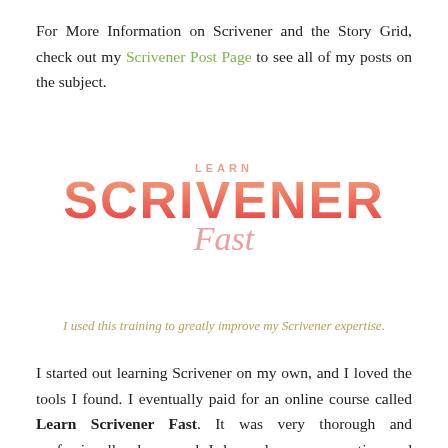For More Information on Scrivener and the Story Grid, check out my Scrivener Post Page to see all of my posts on the subject.
[Figure (logo): Learn Scrivener Fast logo — 'LEARN' in small caps above large gradient red 'SCRIVENER' text, with cursive pink 'Fast' below]
I used this training to greatly improve my Scrivener expertise.
I started out learning Scrivener on my own, and I loved the tools I found. I eventually paid for an online course called Learn Scrivener Fast. It was very thorough and professionally done, and I learned even more tips and techniques. I really loved the course, and I became an affiliate, this is my affiliate link to Learn Scrivener Fast. I do receive a percentage of anything spent through that